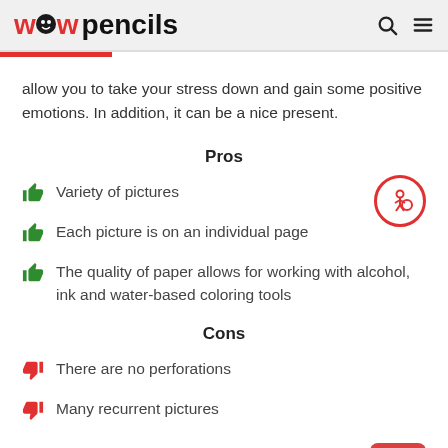wow pencils
allow you to take your stress down and gain some positive emotions. In addition, it can be a nice present.
Pros
Variety of pictures
Each picture is on an individual page
The quality of paper allows for working with alcohol, ink and water-based coloring tools
Cons
There are no perforations
Many recurrent pictures